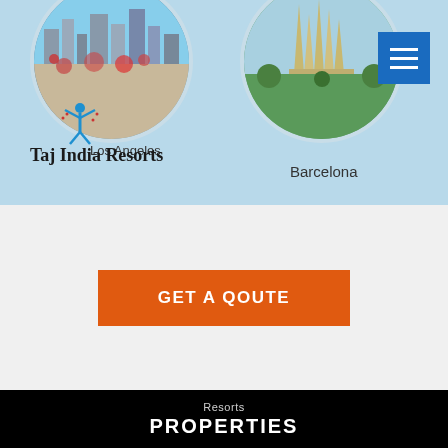[Figure (screenshot): Website screenshot showing Taj India Resorts travel page with circular images of Los Angeles and Barcelona cities, hamburger menu button, GET A QOUTE orange CTA button, and PROPERTIES section header on black background]
Los Angeles
Taj India Resorts
Barcelona
GET A QOUTE
Resorts
PROPERTIES